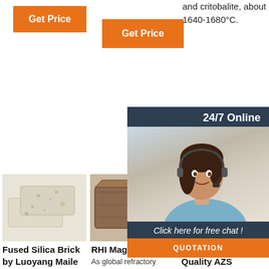[Figure (other): Orange 'Get Price' button top left]
[Figure (other): Orange 'Get Price' button top center]
and critobalite, about 1640-1680°C.
[Figure (other): Orange 'Get' button partially visible, overlapped by chat widget]
[Figure (other): 24/7 Online chat overlay with agent photo, 'Click here for free chat!' text, and QUOTATION button]
[Figure (photo): Photo of fused silica refractory bricks (white/cream colored)]
[Figure (photo): Photo of RHI Magnesita refractory brick (brown colored)]
[Figure (photo): Photo of AZS brick (partial, beige colored)]
Fused Silica Brick by Luoyang Maile Refractory Co., Ltd ...
Silica bricks are the main resin...
RHI Magnesita
As global refractory leaders, we are in a position to drive positive change in
AZS Brick High Quality AZS Refractory Brick Manufacturer RS
[Figure (logo): TOP logo with orange dot pattern]